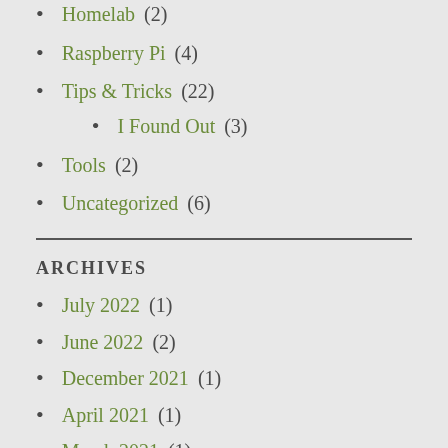Homelab (2)
Raspberry Pi (4)
Tips & Tricks (22)
I Found Out (3)
Tools (2)
Uncategorized (6)
ARCHIVES
July 2022 (1)
June 2022 (2)
December 2021 (1)
April 2021 (1)
March 2021 (1)
February 2021 (2)